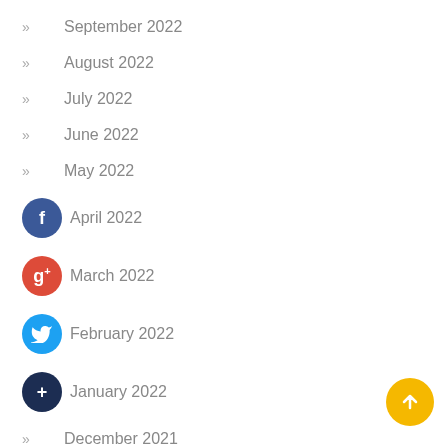September 2022
August 2022
July 2022
June 2022
May 2022
April 2022
March 2022
February 2022
January 2022
December 2021
[Figure (other): Yellow circular scroll-to-top button with upward arrow]